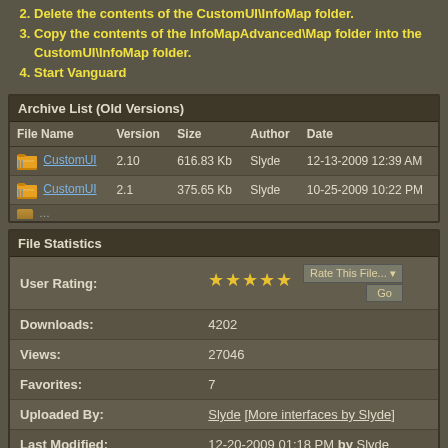2. Delete the contents of the CustomUI\InfoMap folder.
3. Copy the contents of the InfoMapAdvanced\Map folder into the CustomUI\InfoMap folder.
4. Start Vanguard
| File Name | Version | Size | Author | Date |
| --- | --- | --- | --- | --- |
| CustomUI | 2.10 | 616.83 Kb | Slyde | 12-13-2009 12:39 AM |
| CustomUI | 2.1 | 375.65 Kb | Slyde | 10-25-2009 10:22 PM |
| ... |  |  |  |  |
| File Statistics |  |
| --- | --- |
| User Rating: | ★★★★★ |
| Downloads: | 4202 |
| Views: | 27046 |
| Favorites: | 7 |
| Uploaded By: | Slyde [More interfaces by Slyde] |
| Last Modified: | 12-20-2009 01:18 PM by Slyde |